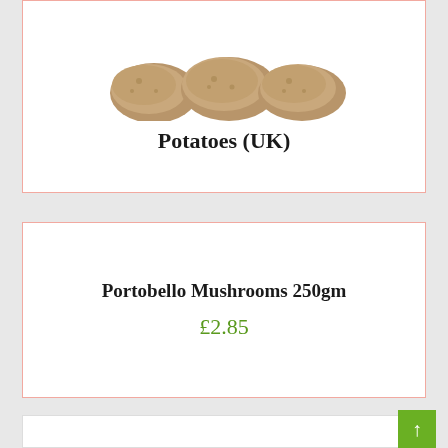[Figure (photo): Partial view of potatoes (UK) product card showing potatoes image at top and product name below]
Potatoes (UK)
Portobello Mushrooms 250gm
£2.85